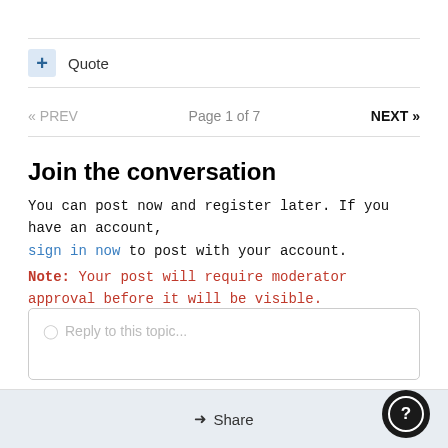+ Quote
« PREV   Page 1 of 7   NEXT »
Join the conversation
You can can post now and register later. If you have an account, sign in now to post with your account.
Note: Your post will require moderator approval before it will be visible.
Reply to this topic...
Share